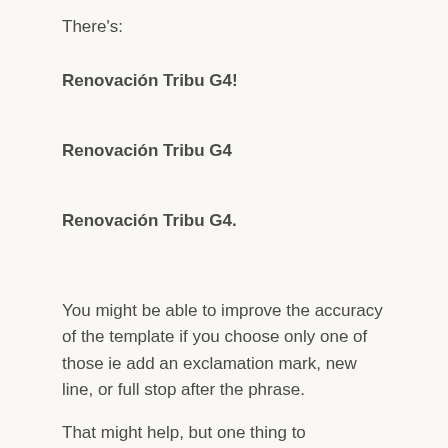There's:
Renovación Tribu G4!
Renovación Tribu G4
Renovación Tribu G4.
You might be able to improve the accuracy of the template if you choose only one of those ie add an exclamation mark, new line, or full stop after the phrase.
That might help, but one thing to